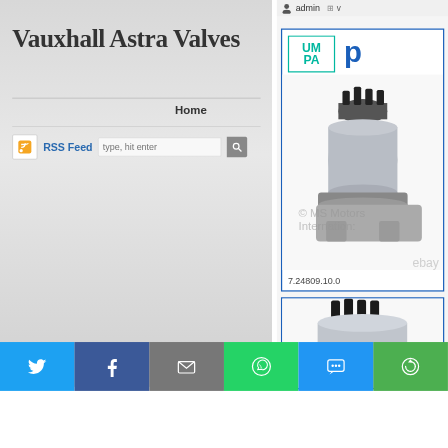admin
Vauxhall Astra Valves
Home
RSS Feed   type, hit enter
Log in
[Figure (photo): Vauxhall Astra valve product image with UMPA and Pierburg logos, part number 7.24809.10.0, with MS Motors International and eBay watermarks]
[Figure (photo): Second valve product image showing close-up of valve top]
Social share buttons: Twitter, Facebook, Email, WhatsApp, SMS, Other